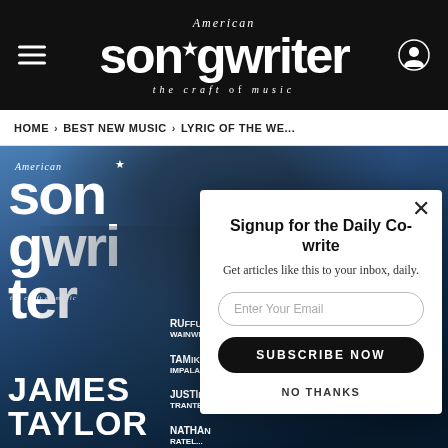American Songwriter — the craft of music
HOME › BEST NEW MUSIC › LYRIC OF THE WE...
[Figure (photo): American Songwriter magazine cover featuring James Taylor on the cover, with text 'JAMES TAYLOR' at the bottom, and partial text for other articles including RU... WAINW..., TA... IMPA..., JUSTI... TRANTER..., NATHAN... RATEL...]
Signup for the Daily Co-write
Get articles like this to your inbox, daily.
Enter Your Email
SUBSCRIBE NOW
NO THANKS